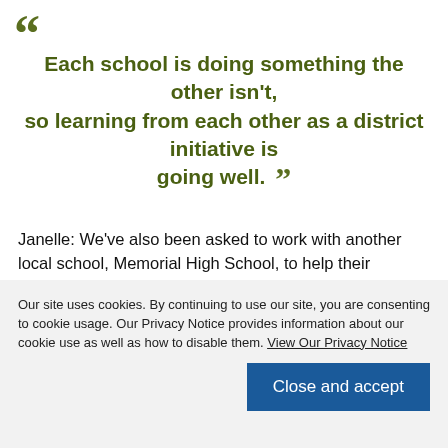Each school is doing something the other isn't, so learning from each other as a district initiative is going well.
Janelle: We've also been asked to work with another local school, Memorial High School, to help their students learn how to get things rolling.
Q: What types of questions surfaced?
Pat: For us, we were going to receive our equipment soon, so seeing firsthand how the laptop and buttons work was important...
Our site uses cookies. By continuing to use our site, you are consenting to cookie usage. Our Privacy Notice provides information about our cookie use as well as how to disable them. View Our Privacy Notice